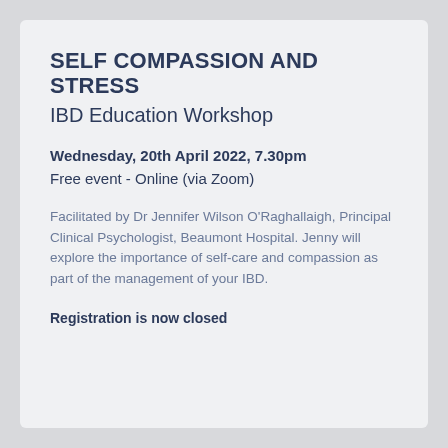SELF COMPASSION AND STRESS
IBD Education Workshop
Wednesday, 20th April 2022, 7.30pm
Free event - Online (via Zoom)
Facilitated by Dr Jennifer Wilson O'Raghallaigh, Principal Clinical Psychologist, Beaumont Hospital. Jenny will explore the importance of self-care and compassion as part of the management of your IBD.
Registration is now closed